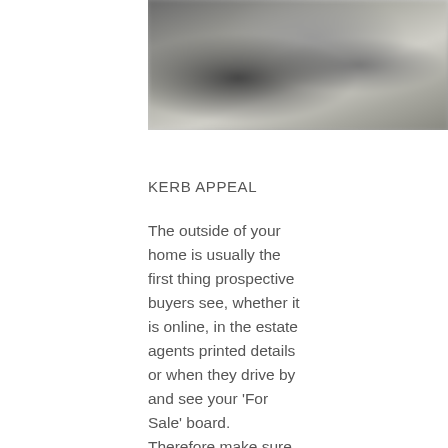[Figure (photo): Blurred photograph of a house exterior, showing muted tones of grey and beige]
KERB APPEAL
The outside of your home is usually the first thing prospective buyers see, whether it is online, in the estate agents printed details or when they drive by and see your 'For Sale' board. Therefore make sure you present the outside well by tidying it up, moving unsightly bins, mowing the lawn, cleaning the windows, door step and front door - first impressions count.